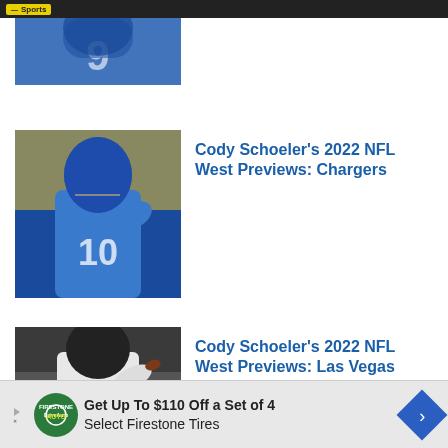Sports
[Figure (photo): Partial photo of a football player in a blue uniform with number 9, partially cut off at top]
Cody Schoeler’s 2022 NFL West Previews: Chargers
[Figure (photo): Photo of a Los Angeles Chargers quarterback wearing number 10 jersey in blue uniform, throwing a football]
Cody Schoeler’s 2022 NFL West Previews: Las Vegas Raiders
[Figure (photo): Photo of a Las Vegas Raiders quarterback wearing number 4 jersey in white uniform, throwing a football]
Get Up To $110 Off a Set of 4 Select Firestone Tires